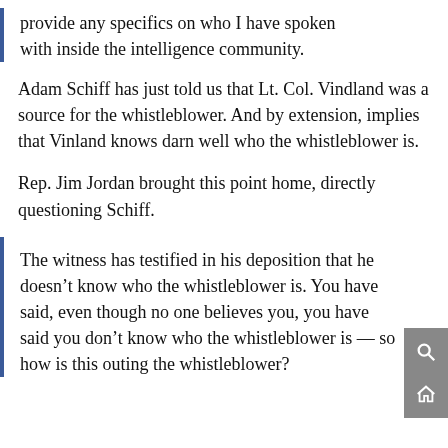provide any specifics on who I have spoken with inside the intelligence community.
Adam Schiff has just told us that Lt. Col. Vindland was a source for the whistleblower. And by extension, implies that Vinland knows darn well who the whistleblower is.
Rep. Jim Jordan brought this point home, directly questioning Schiff.
The witness has testified in his deposition that he doesn’t know who the whistleblower is. You have said, even though no one believes you, you have said you don’t know who the whistleblower is — so how is this outing the whistleblower?